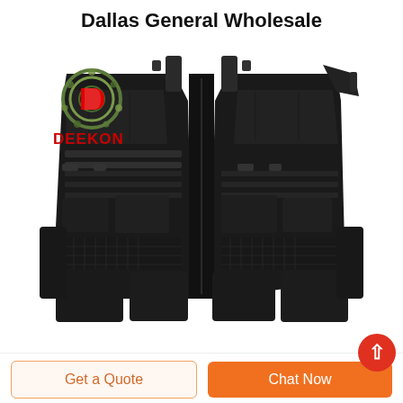Dallas General Wholesale
[Figure (photo): Black tactical vest with multiple pouches and MOLLE webbing, Deekon brand logo visible in upper left of photo]
Get a Quote
Chat Now